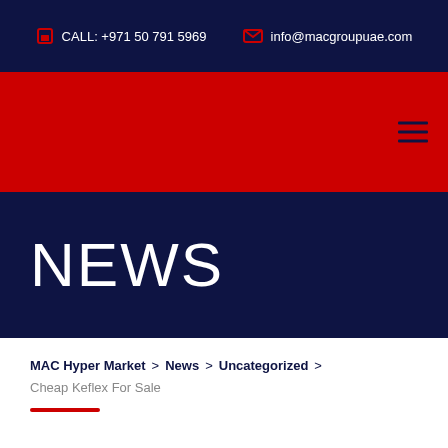CALL: +971 50 791 5969   info@macgroupuae.com
[Figure (screenshot): Red navigation bar with hamburger menu icon (three horizontal lines) on the right side]
NEWS
MAC Hyper Market > News > Uncategorized > Cheap Keflex For Sale